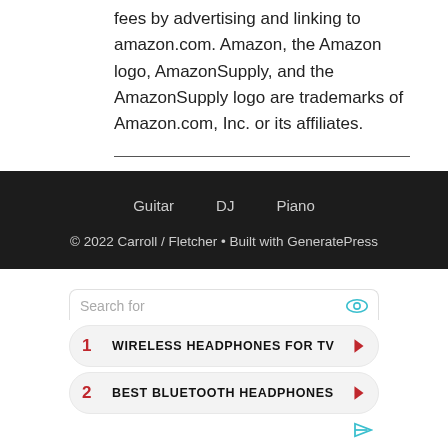fees by advertising and linking to amazon.com. Amazon, the Amazon logo, AmazonSupply, and the AmazonSupply logo are trademarks of Amazon.com, Inc. or its affiliates.
Guitar   DJ   Piano
© 2022 Carroll / Fletcher • Built with GeneratePress
[Figure (screenshot): Advertisement search box with two sponsored results: 1. WIRELESS HEADPHONES FOR TV, 2. BEST BLUETOOTH HEADPHONES]